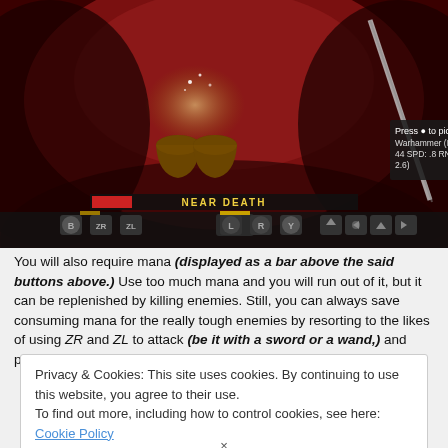[Figure (screenshot): Video game screenshot showing a dark red cave environment. Two glowing jars/pots are visible. A HUD tooltip reads 'Press ● to pick up: Warhammer (DMG: 44 SPD: .8 RNG: 2.6)'. A 'NEAR DEATH' health bar indicator is shown in the center. Bottom HUD shows controller buttons: L, R, Y on the left; D-pad in center; B, ZR, ZL on the right with inventory item icons.]
You will also require mana (displayed as a bar above the said buttons above.) Use too much mana and you will run out of it, but it can be replenished by killing enemies. Still, you can always save consuming mana for the really tough enemies by resorting to the likes of using ZR and ZL to attack (be it with a sword or a wand,) and press B for the occasional job.
Privacy & Cookies: This site uses cookies. By continuing to use this website, you agree to their use.
To find out more, including how to control cookies, see here: Cookie Policy